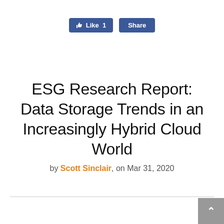[Figure (screenshot): Facebook Like and Share social media buttons. Like button shows thumbs up icon with count '1', Share button next to it, both in Facebook blue color.]
ESG Research Report: Data Storage Trends in an Increasingly Hybrid Cloud World
by Scott Sinclair, on Mar 31, 2020